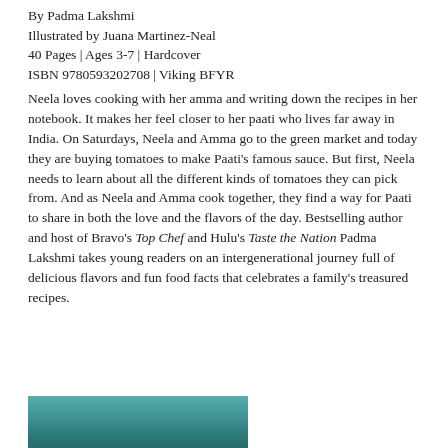By Padma Lakshmi
Illustrated by Juana Martinez-Neal
40 Pages | Ages 3-7 | Hardcover
ISBN 9780593202708 | Viking BFYR
Neela loves cooking with her amma and writing down the recipes in her notebook. It makes her feel closer to her paati who lives far away in India. On Saturdays, Neela and Amma go to the green market and today they are buying tomatoes to make Paati's famous sauce. But first, Neela needs to learn about all the different kinds of tomatoes they can pick from. And as Neela and Amma cook together, they find a way for Paati to share in both the love and the flavors of the day. Bestselling author and host of Bravo's Top Chef and Hulu's Taste the Nation Padma Lakshmi takes young readers on an intergenerational journey full of delicious flavors and fun food facts that celebrates a family's treasured recipes.
[Figure (photo): Partial view of a book cover with teal/turquoise background, showing the bottom portion of an illustrated image]